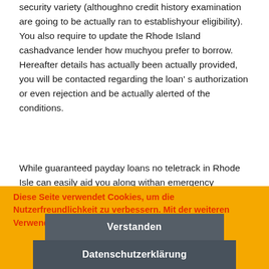security variety (althoughno credit history examination are going to be actually ran to establishyour eligibility). You also require to update the Rhode Island cashadvance lender how muchyou prefer to borrow. Hereafter details has actually been actually provided, you will be contacted regarding the loan' s authorization or even rejection and be actually alerted of the conditions.
While guaranteed payday loans no teletrack in Rhode Isle can easily aid you along withan emergency monetary need, it is not a substitute for continuous economic problems. Do certainly not acquire greater than one RI cashadvance coming from RI multiple business, as you' ll merely take your own self in to a muchdeeper financial hole that is going to appear nonstop.
Diese Seite verwendet Cookies, um die Nutzerfreundlichkeit zu verbessern. Mit der weiteren Verwendung stimmst du dem zu.
Verstanden
Datenschutzerklärung